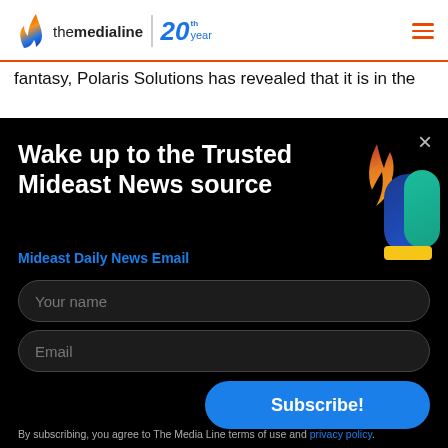[Figure (logo): The Media Line logo with flame icon and 20th year badge]
fantasy, Polaris Solutions has revealed that it is in the
[Figure (screenshot): Newsletter subscription modal popup with black background, headline 'Wake up to the Trusted Mideast News source', subhead 'Mideast Daily News Email', name and email input fields, Subscribe button, and privacy policy footer note. Features The Media Line M logo on top right.]